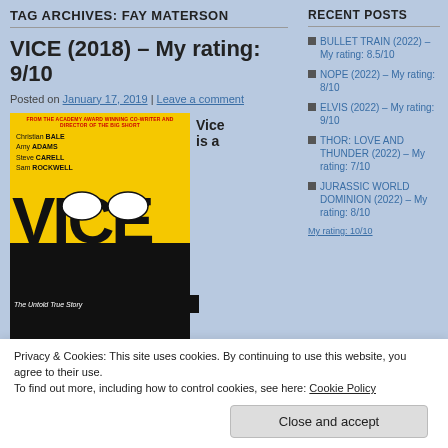TAG ARCHIVES: FAY MATERSON
VICE (2018) – My rating: 9/10
Posted on January 17, 2019 | Leave a comment
[Figure (photo): Movie poster for VICE (2018) featuring yellow and black design with cast names: Christian BALE, Amy ADAMS, Steve CARELL, Sam ROCKWELL]
Vice is a
RECENT POSTS
BULLET TRAIN (2022) – My rating: 8.5/10
NOPE (2022) – My rating: 8/10
ELVIS (2022) – My rating: 9/10
THOR: LOVE AND THUNDER (2022) – My rating: 7/10
JURASSIC WORLD DOMINION (2022) – My rating: 8/10
Privacy & Cookies: This site uses cookies. By continuing to use this website, you agree to their use.
To find out more, including how to control cookies, see here: Cookie Policy
Close and accept